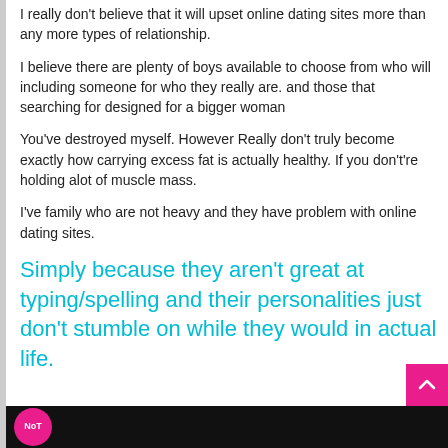I really don't believe that it will upset online dating sites more than any more types of relationship.
I believe there are plenty of boys available to choose from who will including someone for who they really are. and those that searching for designed for a bigger woman
You've destroyed myself. However Really don't truly become exactly how carrying excess fat is actually healthy. If you don't're holding alot of muscle mass.
I've family who are not heavy and they have problem with online dating sites.
Simply because they aren't great at typing/spelling and their personalities just don't stumble on while they would in actual life.
[Figure (other): Black bar at bottom with pink circular NoT badge logo]